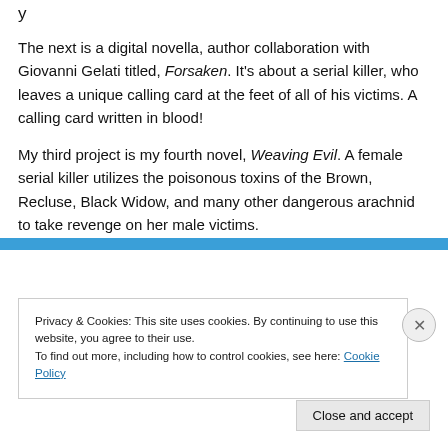The next is a digital novella, author collaboration with Giovanni Gelati titled, Forsaken. It's about a serial killer, who leaves a unique calling card at the feet of all of his victims. A calling card written in blood!
My third project is my fourth novel, Weaving Evil. A female serial killer utilizes the poisonous toxins of the Brown, Recluse, Black Widow, and many other dangerous arachnid to take revenge on her male victims.
Privacy & Cookies: This site uses cookies. By continuing to use this website, you agree to their use.
To find out more, including how to control cookies, see here: Cookie Policy